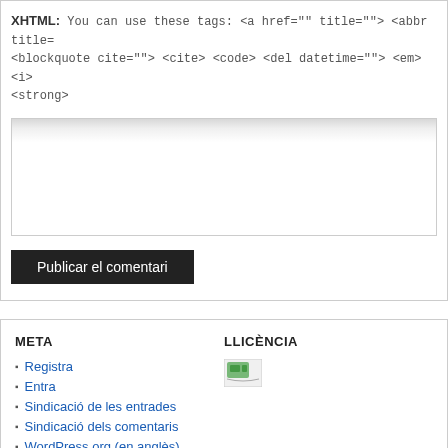XHTML: You can use these tags: <a href="" title=""> <abbr title= <blockquote cite=""> <cite> <code> <del datetime=""> <em> <i> <strong>
[Figure (screenshot): A text input area (textarea) with a light grey gradient top and white body, bordered.]
Publicar el comentari
META
LLICÈNCIA
Registra
Entra
Sindicació de les entrades
Sindicació dels comentaris
WordPress.org (en anglès)
[Figure (logo): Small Creative Commons or licence image icon.]